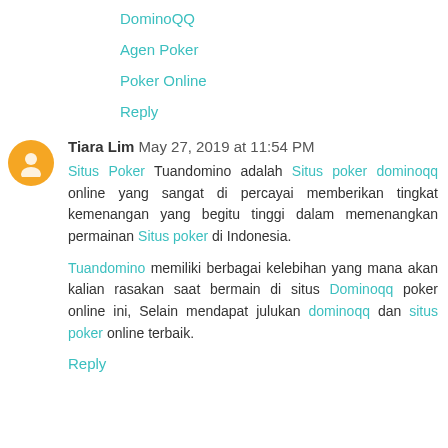DominoQQ
Agen Poker
Poker Online
Reply
Tiara Lim May 27, 2019 at 11:54 PM
Situs Poker Tuandomino adalah Situs poker dominoqq online yang sangat di percayai memberikan tingkat kemenangan yang begitu tinggi dalam memenangkan permainan Situs poker di Indonesia.
Tuandomino memiliki berbagai kelebihan yang mana akan kalian rasakan saat bermain di situs Dominoqq poker online ini, Selain mendapat julukan dominoqq dan situs poker online terbaik.
Reply